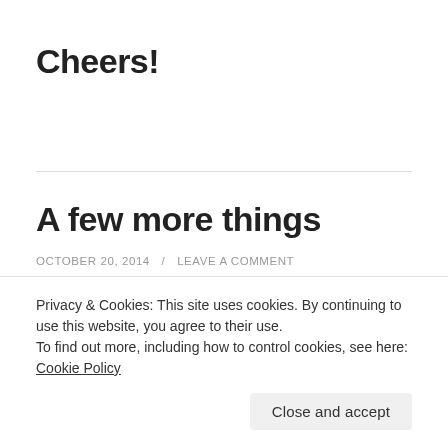Cheers!
A few more things
OCTOBER 20, 2014 / LEAVE A COMMENT
Hi There!
Privacy & Cookies: This site uses cookies. By continuing to use this website, you agree to their use.
To find out more, including how to control cookies, see here: Cookie Policy
Close and accept
western Europe which looks quite delicate but is found